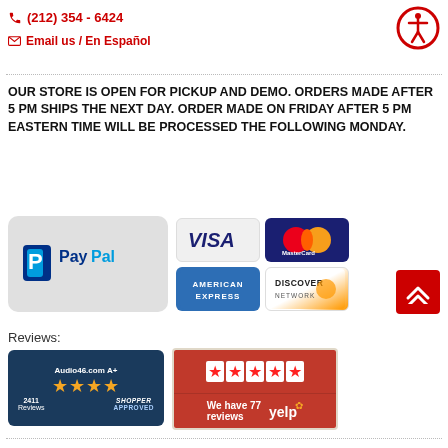(212) 354 - 6424
Email us / En Español
[Figure (illustration): Accessibility icon - circular red border with human figure symbol]
OUR STORE IS OPEN FOR PICKUP AND DEMO. ORDERS MADE AFTER 5 PM SHIPS THE NEXT DAY. ORDER MADE ON FRIDAY AFTER 5 PM EASTERN TIME WILL BE PROCESSED THE FOLLOWING MONDAY.
[Figure (logo): PayPal logo on grey rounded rectangle background]
[Figure (logo): Payment method logos: Visa, MasterCard, American Express, Discover Network]
[Figure (logo): Red scroll-to-top button with upward chevrons]
Reviews:
[Figure (logo): Shopper Approved badge: Audio46.com A+, 4 gold stars, 2411 Reviews]
[Figure (logo): Yelp badge: 5 red stars, We have 77 reviews, Yelp logo]